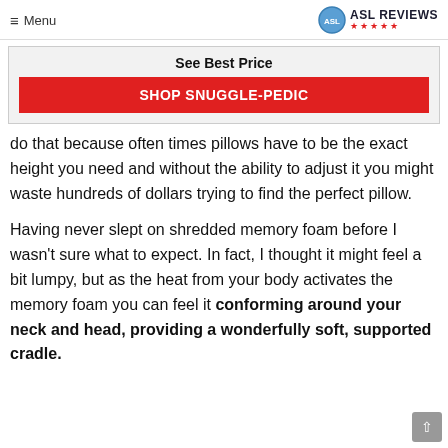≡ Menu   ASL REVIEWS ★★★★★
See Best Price
SHOP SNUGGLE-PEDIC
do that because often times pillows have to be the exact height you need and without the ability to adjust it you might waste hundreds of dollars trying to find the perfect pillow.
Having never slept on shredded memory foam before I wasn't sure what to expect. In fact, I thought it might feel a bit lumpy, but as the heat from your body activates the memory foam you can feel it conforming around your neck and head, providing a wonderfully soft, supported cradle.